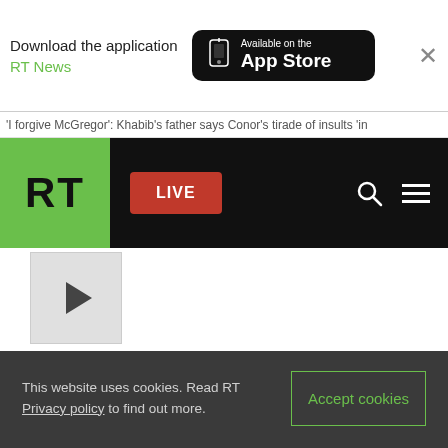[Figure (screenshot): App download banner with RT News text and Available on the App Store button]
'I forgive McGregor': Khabib's father says Conor's tirade of insults 'in
[Figure (logo): RT logo in green square with black background navigation bar, red LIVE button, search icon, and hamburger menu]
[Figure (other): Video player placeholder with play button triangle]
This website uses cookies. Read RT Privacy policy to find out more.